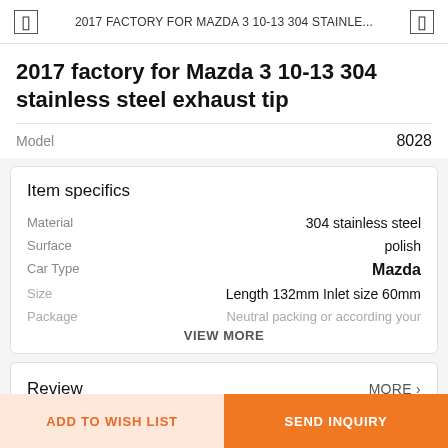2017 FACTORY FOR MAZDA 3 10-13 304 STAINLE...
2017 factory for Mazda 3 10-13 304 stainless steel exhaust tip
Model  8028
Item specifics
| Property | Value |
| --- | --- |
| Material | 304 stainless steel |
| Surface | polish |
| Car Type | Mazda |
| Size | Length 132mm Inlet size 60mm |
| Package | Neutral packing or according your |
VIEW MORE
Review  MORE ›